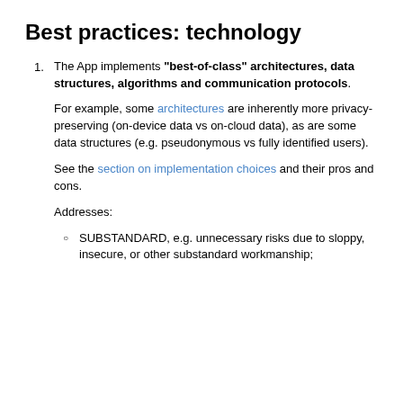Best practices: technology
The App implements "best-of-class" architectures, data structures, algorithms and communication protocols.

For example, some architectures are inherently more privacy-preserving (on-device data vs on-cloud data), as are some data structures (e.g. pseudonymous vs fully identified users).

See the section on implementation choices and their pros and cons.

Addresses:

◦ SUBSTANDARD, e.g. unnecessary risks due to sloppy, insecure, or other substandard workmanship;